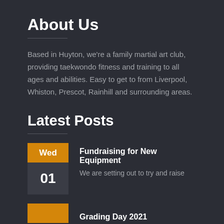About Us
Based in Huyton, we're a family martial art club, providing taekwondo fitness and training to all ages and abilities. Easy to get to from Liverpool, Whiston, Prescot, Rainhill and surrounding areas.
Latest Posts
Wed 01 — Fundraising for New Equipment — We are setting out to try and raise
Grading Day 2021